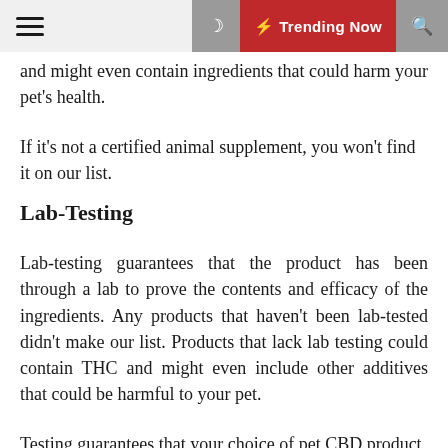☰ | 🌙 | ⚡ Trending Now | 🔍
and might even contain ingredients that could harm your pet's health.
If it's not a certified animal supplement, you won't find it on our list.
Lab-Testing
Lab-testing guarantees that the product has been through a lab to prove the contents and efficacy of the ingredients. Any products that haven't been lab-tested didn't make our list. Products that lack lab testing could contain THC and might even include other additives that could be harmful to your pet.
Testing guarantees that your choice of pet CBD product is safe for your pets to take and that the brand can prove this for all their products.